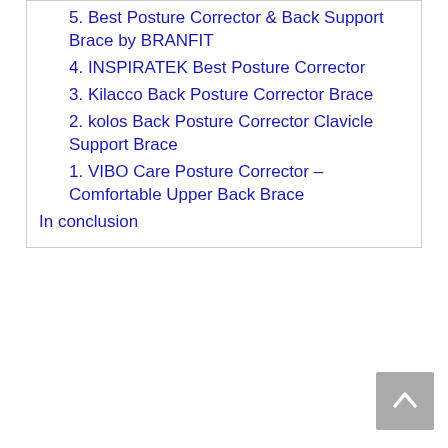5. Best Posture Corrector & Back Support Brace by BRANFIT
4. INSPIRATEK Best Posture Corrector
3. Kilacco Back Posture Corrector Brace
2. kolos Back Posture Corrector Clavicle Support Brace
1. VIBO Care Posture Corrector – Comfortable Upper Back Brace
In conclusion